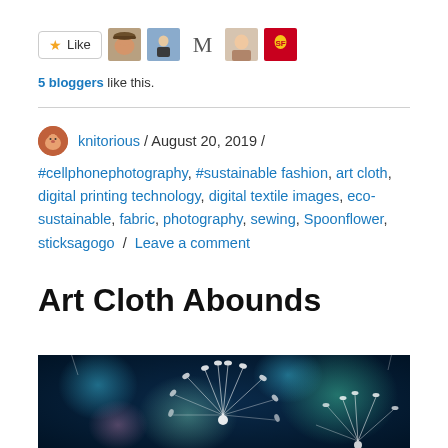[Figure (other): Like button with star icon and 5 blogger avatar thumbnails]
5 bloggers like this.
knitorious / August 20, 2019 / #cellphonephotography, #sustainable fashion, art cloth, digital printing technology, digital textile images, eco-sustainable, fabric, photography, sewing, Spoonflower, sticksagogo / Leave a comment
Art Cloth Abounds
[Figure (photo): Close-up macro photo of dandelion seeds with blue and teal bokeh background]